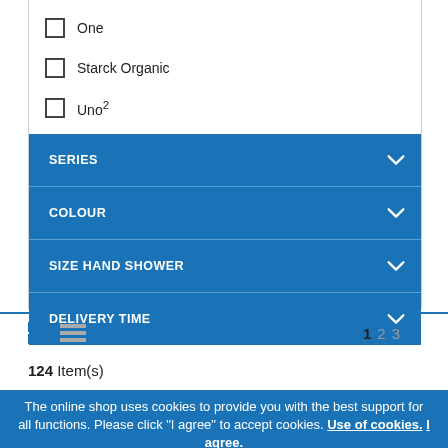☐ One
☐ Starck Organic
☐ Uno²
SERIES
COLOUR
SIZE HAND SHOWER
DELIVERY TIME
1  2  3  ▶
124 Item(s)
The online shop uses cookies to provide you with the best support for all functions. Please click "I agree" to accept cookies. Use of cookies. I agree.
AXOR